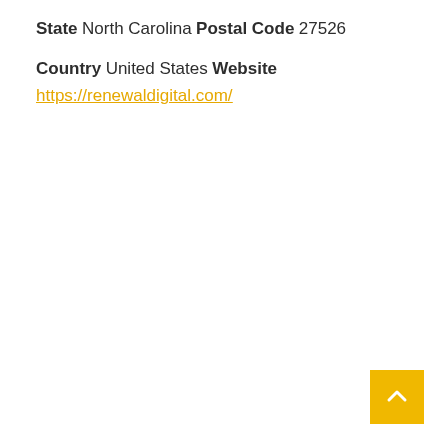State
North Carolina
Postal Code
27526
Country
United States
Website
https://renewaldigital.com/